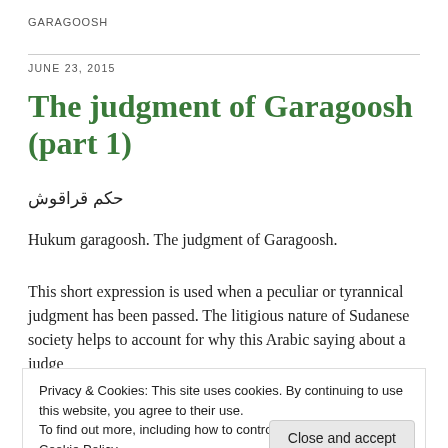GARAGOOSH
JUNE 23, 2015
The judgment of Garagoosh (part 1)
حكم قراقوش
Hukum garagoosh. The judgment of Garagoosh.
This short expression is used when a peculiar or tyrannical judgment has been passed. The litigious nature of Sudanese society helps to account for why this Arabic saying about a judge
Privacy & Cookies: This site uses cookies. By continuing to use this website, you agree to their use.
To find out more, including how to control cookies, see here: Cookie Policy
farmer's pregnant wife as he rushed to climb onto one of the